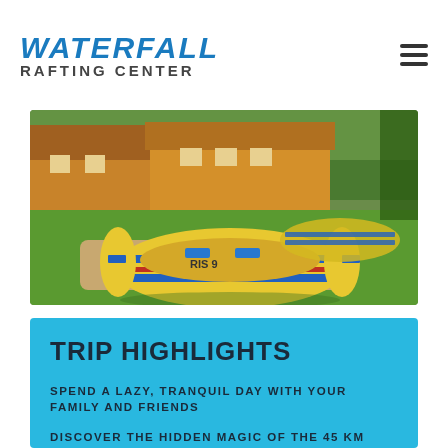WATERFALL RAFTING CENTER
[Figure (photo): Yellow and blue inflatable rafting boat (marked RIS 9) on a grassy area in front of wooden log cabins, with trees in the background. Another inflatable is partially visible behind it.]
TRIP HIGHLIGHTS
SPEND A LAZY, TRANQUIL DAY WITH YOUR FAMILY AND FRIENDS
DISCOVER THE HIDDEN MAGIC OF THE 45 KM LONG PIVA LAKE